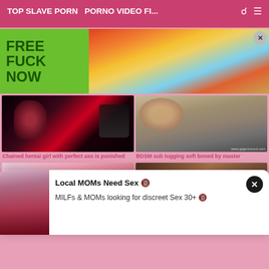TOP SLAVE PORN  PORNO VIDEO FI...
[Figure (photo): Advertisement banner with green text 'FREE FUCK NOW' on left and animated/cartoon characters on right]
[Figure (photo): Thumbnail: Chained hentai girl with perfect ass is punished]
Chained hentai girl with perfect ass is punished
[Figure (photo): Thumbnail: BDSM sub tugging soft boned by master]
BDSM sub tugging soft boned by master
[Figure (photo): Popup overlay with woman in red dress photo]
Local MOMs Need Sex 🔞
MILFs & MOMs looking for discreet Sex 30+ 🔞